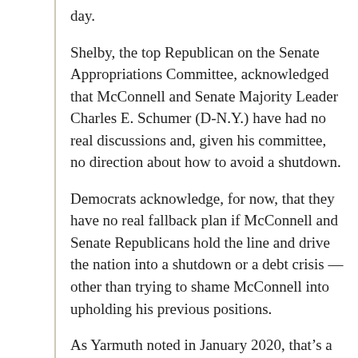day.
Shelby, the top Republican on the Senate Appropriations Committee, acknowledged that McConnell and Senate Majority Leader Charles E. Schumer (D-N.Y.) have had no real discussions and, given his committee, no direction about how to avoid a shutdown.
Democrats acknowledge, for now, that they have no real fallback plan if McConnell and Senate Republicans hold the line and drive the nation into a shutdown or a debt crisis — other than trying to shame McConnell into upholding his previous positions.
As Yarmuth noted in January 2020, that's a very difficult hand to play regardless of the stakes.
“Mitch is just not going to be pressured,” he said then.